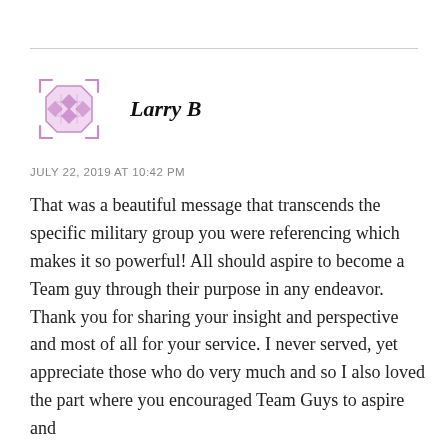[Figure (illustration): Purple/pink decorative avatar icon with a geometric diamond pattern inside an octagonal border with angular bracket-like decorative elements at corners]
Larry B
JULY 22, 2019 AT 10:42 PM
That was a beautiful message that transcends the specific military group you were referencing which makes it so powerful! All should aspire to become a Team guy through their purpose in any endeavor. Thank you for sharing your insight and perspective and most of all for your service. I never served, yet appreciate those who do very much and so I also loved the part where you encouraged Team Guys to aspire and